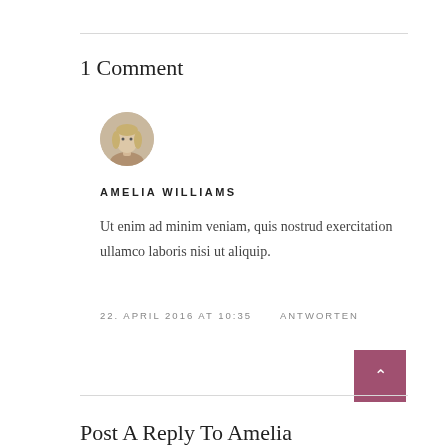1 Comment
[Figure (photo): Circular avatar photo of a blonde woman]
AMELIA WILLIAMS
Ut enim ad minim veniam, quis nostrud exercitation ullamco laboris nisi ut aliquip.
22. APRIL 2016 AT 10:35   ANTWORTEN
Post A Reply To Amelia